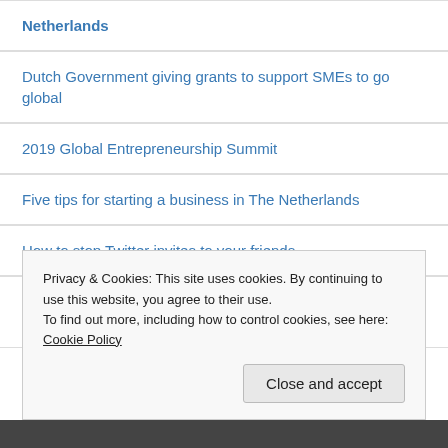Netherlands
Dutch Government giving grants to support SMEs to go global
2019 Global Entrepreneurship Summit
Five tips for starting a business in The Netherlands
How to stop Twitter invites to your friends
Zestee Social Media School Website Pyramid: How to build a solid website and how it's like a house
Privacy & Cookies: This site uses cookies. By continuing to use this website, you agree to their use.
To find out more, including how to control cookies, see here: Cookie Policy
Close and accept